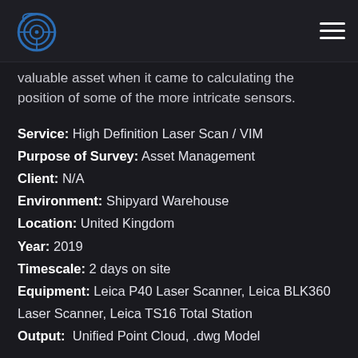Logo and navigation header
valuable asset when it came to calculating the position of some of the more intricate sensors.
Service: High Definition Laser Scan / VIM
Purpose of Survey: Asset Management
Client: N/A
Environment: Shipyard Warehouse
Location: United Kingdom
Year: 2019
Timescale: 2 days on site
Equipment: Leica P40 Laser Scanner, Leica BLK360 Laser Scanner, Leica TS16 Total Station
Output: Unified Point Cloud, .dwg Model